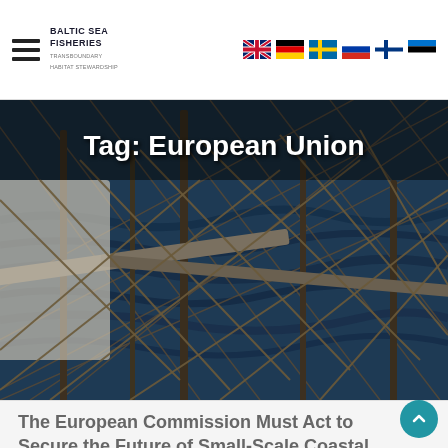BALTIC SEA FISHERIES
Tag: European Union
[Figure (photo): Fishing nets and equipment on a boat over blue sea water, dark atmospheric photo]
The European Commission Must Act to Secure the Future of Small-Scale Coastal